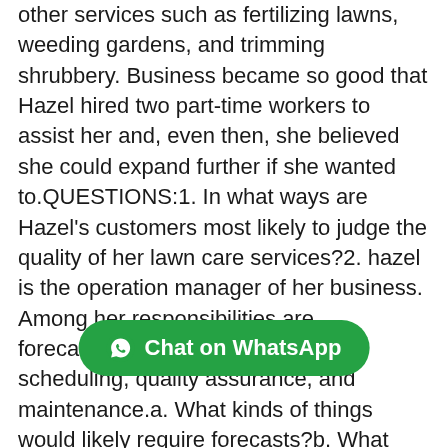other services such as fertilizing lawns, weeding gardens, and trimming shrubbery. Business became so good that Hazel hired two part-time workers to assist her and, even then, she believed she could expand further if she wanted to.QUESTIONS:1. In what ways are Hazel's customers most likely to judge the quality of her lawn care services?2. hazel is the operation manager of her business. Among her responsibilities are forecasting, inventory management, scheduling, quality assurance, and maintenance.a. What kinds of things would likely require forecasts?b. What inventory items does Hazel probably have? Name one inventory decision she has tomake periodically.c. What scheduling must she do? What things might occur to disrupt schedules and causehazel to reschedule?d. How important is quality assurance to hazel's business? Explain.e. What kinds of maintenance must be performed?3. What are some of the trade-offs that Hazel probably considered relative to:a. w for herself?b. Expanding the business?c. launching a wweb site?4. The town is